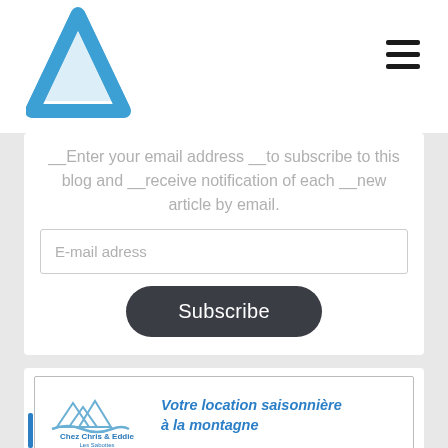[Figure (logo): Blue triangle/mountain logo in top left corner]
[Figure (other): Hamburger menu icon (three horizontal bars) in top right corner]
__Enter your email address __to subscribe to this blog and __receive notification of each __new article by email.
E-mail adress
Subscribe
[Figure (illustration): Advertisement banner: Chez Chris & Eddie logo with mountains and wave, text 'Votre location saisonnière à la montagne' in blue italic bold]
[Figure (other): Blue vertical accent bar at the bottom left]